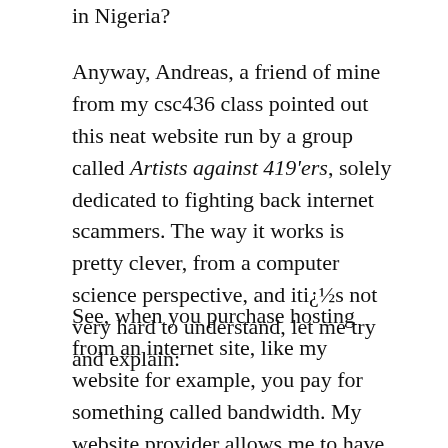in Nigeria?
Anyway, Andreas, a friend of mine from my csc436 class pointed out this neat website run by a group called Artists against 419'ers, solely dedicated to fighting back internet scammers. The way it works is pretty clever, from a computer science perspective, and iti¿½s not very hard to understand, let me try and explain:
See, when you purchase hosting from an internet site, like my website for example, you pay for something called bandwidth. My website provider allows me to have 5 GB of transfer a month, meaning every time you load